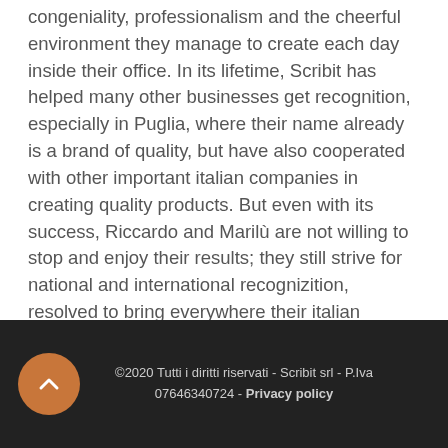congeniality, professionalism and the cheerful environment they manage to create each day inside their office. In its lifetime, Scribit has helped many other businesses get recognition, especially in Puglia, where their name already is a brand of quality, but have also cooperated with other important italian companies in creating quality products. But even with its success, Riccardo and Marilù are not willing to stop and enjoy their results; they still strive for national and international recognizition, resolved to bring everywhere their italian excellence.
©2020 Tutti i diritti riservati - Scribit srl - P.Iva 07646340724 - Privacy policy